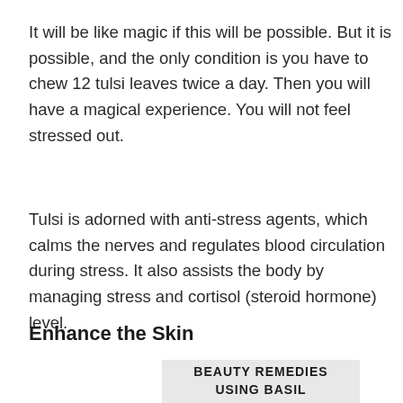It will be like magic if this will be possible. But it is possible, and the only condition is you have to chew 12 tulsi leaves twice a day. Then you will have a magical experience. You will not feel stressed out.
Tulsi is adorned with anti-stress agents, which calms the nerves and regulates blood circulation during stress. It also assists the body by managing stress and cortisol (steroid hormone) level.
Enhance the Skin
[Figure (other): Partial image showing text: BEAUTY REMEDIES USING BASIL, with a partially visible illustration below]